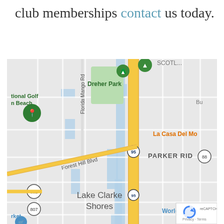club memberships contact us today.
[Figure (map): Google Maps screenshot showing West Palm Beach, Florida area including Dreher Park, Forest Hill Blvd, Parker Ridge, Lake Clarke Shores, Florida Mango Rd, Interstate 95, and route markers 882 and 807. Map pins show National Golf (n Beach) and Dreher Park locations.]